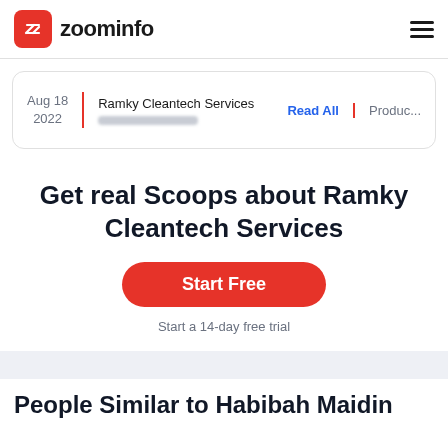zoominfo
Aug 18 2022 | Ramky Cleantech Services [blurred] | Read All | Produc...
Get real Scoops about Ramky Cleantech Services
Start Free
Start a 14-day free trial
People Similar to Habibah Maidin